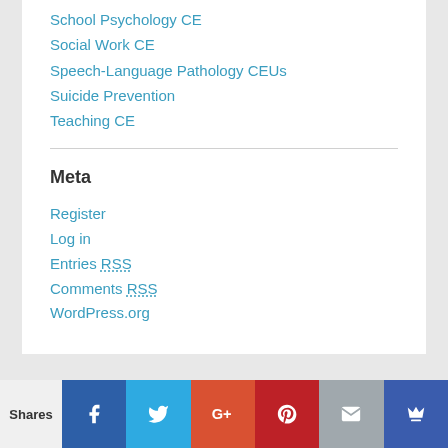School Psychology CE
Social Work CE
Speech-Language Pathology CEUs
Suicide Prevention
Teaching CE
Meta
Register
Log in
Entries RSS
Comments RSS
WordPress.org
View Full Site
Proudly powered by WordPress
Shares | Facebook | Twitter | Google+ | Pinterest | Email | Crown